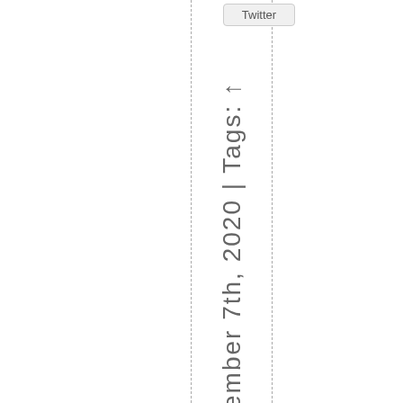Twitter
November 7th, 2020 | Tags: